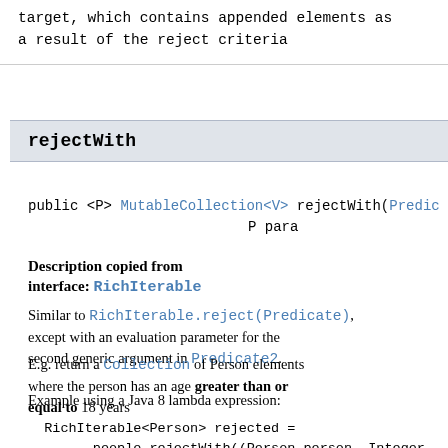target, which contains appended elements as a result of the reject criteria
rejectWith
public <P> MutableCollection<V> rejectWith(Predic P para
Description copied from interface: RichIterable
Similar to RichIterable.reject(Predicate), except with an evaluation parameter for the second generic argument in Predicate2.
E.g. return a Collection of Person elements where the person has an age greater than or equal to 18 years
Example using a Java 8 lambda expression:
RichIterable<Person> rejected =
    people.rejectWith((Person person, Integer ag